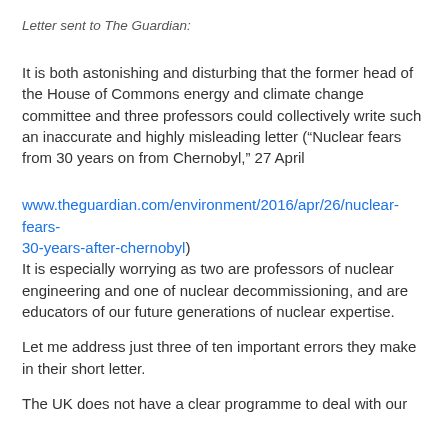Letter sent to The Guardian:
It is both astonishing and disturbing that the former head of the House of Commons energy and climate change committee and three professors could collectively write such an inaccurate and highly misleading letter (“Nuclear fears from 30 years on from Chernobyl,” 27 April
www.theguardian.com/environment/2016/apr/26/nuclear-fears-30-years-after-chernobyl) It is especially worrying as two are professors of nuclear engineering and one of nuclear decommissioning, and are educators of our future generations of nuclear expertise.
Let me address just three of ten important errors they make in their short letter.
The UK does not have a clear programme to deal with our